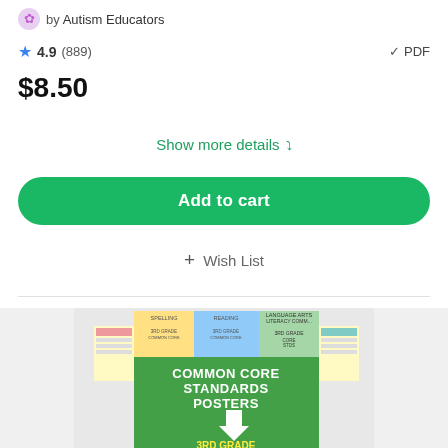by Autism Educators
4.9 (889) ✓ PDF
$8.50
Show more details ˅
Add to cart
+ Wish List
[Figure (illustration): Preview thumbnail of Common Core Standards Posters 3rd Grade product, showing colorful posters with text COMMON CORE STANDARDS POSTERS 3RD GRADE]